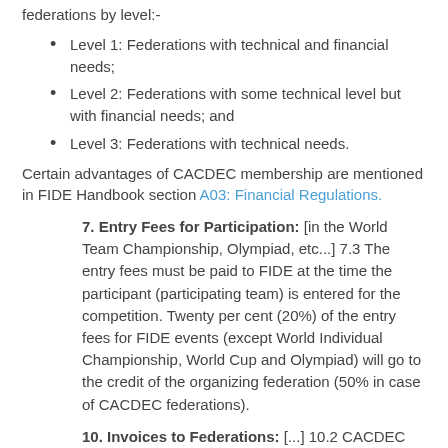federations by level:-
Level 1: Federations with technical and financial needs;
Level 2: Federations with some technical level but with financial needs; and
Level 3: Federations with technical needs.
Certain advantages of CACDEC membership are mentioned in FIDE Handbook section A03: Financial Regulations.
7. Entry Fees for Participation: [in the World Team Championship, Olympiad, etc...] 7.3 The entry fees must be paid to FIDE at the time the participant (participating team) is entered for the competition. Twenty per cent (20%) of the entry fees for FIDE events (except World Individual Championship, World Cup and Olympiad) will go to the credit of the organizing federation (50% in case of CACDEC federations).
10. Invoices to Federations: [...] 10.2 CACDEC